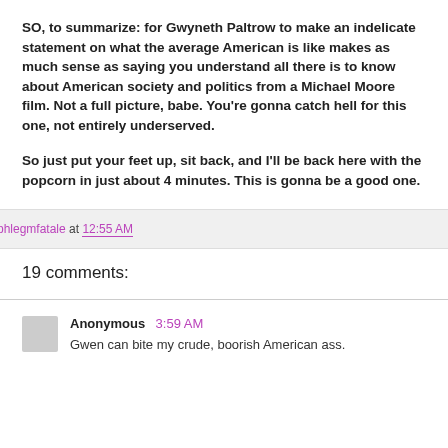SO, to summarize: for Gwyneth Paltrow to make an indelicate statement on what the average American is like makes as much sense as saying you understand all there is to know about American society and politics from a Michael Moore film. Not a full picture, babe. You're gonna catch hell for this one, not entirely underserved.

So just put your feet up, sit back, and I'll be back here with the popcorn in just about 4 minutes. This is gonna be a good one.
phlegmfatale at 12:55 AM
19 comments:
Anonymous 3:59 AM
Gwen can bite my crude, boorish American ass.